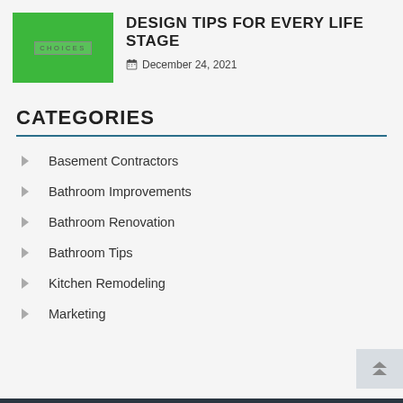[Figure (illustration): Green square thumbnail with 'CHOICES' text label in small caps]
DESIGN TIPS FOR EVERY LIFE STAGE
December 24, 2021
CATEGORIES
Basement Contractors
Bathroom Improvements
Bathroom Renovation
Bathroom Tips
Kitchen Remodeling
Marketing